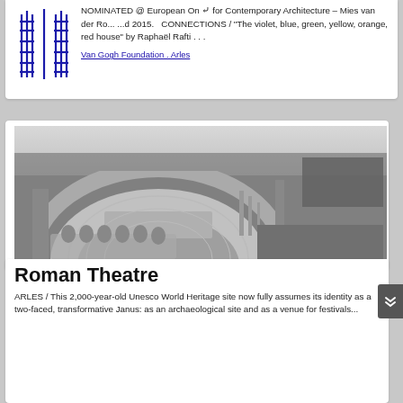NOMINATED @ European On [chevron] for Contemporary Architecture – Mies van der Ro... ...d 2015.  CONNECTIONS / "The violet, blue, green, yellow, orange, red house" by Raphaël Rafti . . .
Van Gogh Foundation . Arles
[Figure (photo): Aerial black and white photograph of a Roman theatre in Arles, showing a large semicircular ancient amphitheatre surrounded by trees, with construction activity visible nearby.]
Roman Theatre
ARLES / This 2,000-year-old Unesco World Heritage site now fully assumes its identity as a two-faced, transformative Janus: as an archaeological site and as a venue for festivals...